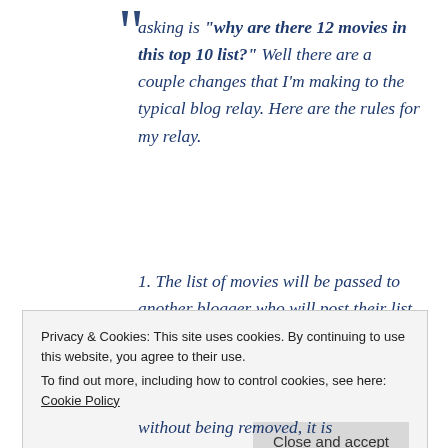asking is "why are there 12 movies in this top 10 list?" Well there are a couple changes that I'm making to the typical blog relay. Here are the rules for my relay.
1. The list of movies will be passed to another blogger who will post their list within a week.
Privacy & Cookies: This site uses cookies. By continuing to use this website, you agree to their use. To find out more, including how to control cookies, see here: Cookie Policy
without being removed, it is